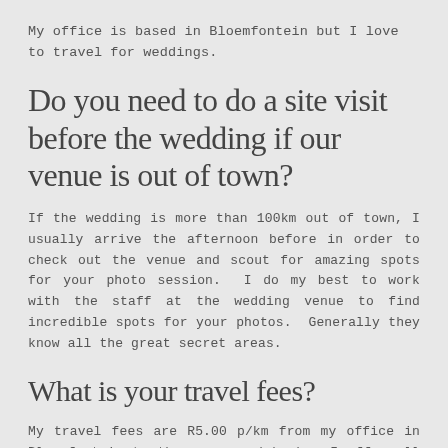My office is based in Bloemfontein but I love to travel for weddings.
Do you need to do a site visit before the wedding if our venue is out of town?
If the wedding is more than 100km out of town, I usually arrive the afternoon before in order to check out the venue and scout for amazing spots for your photo session.  I do my best to work with the staff at the wedding venue to find incredible spots for your photos.  Generally they know all the great secret areas.
What is your travel fees?
My travel fees are R5.00 p/km from my office in Bloemfontein to the venue and back.  I offer all inclusive investment packages for Cape Town and Gauteng weddings which includes